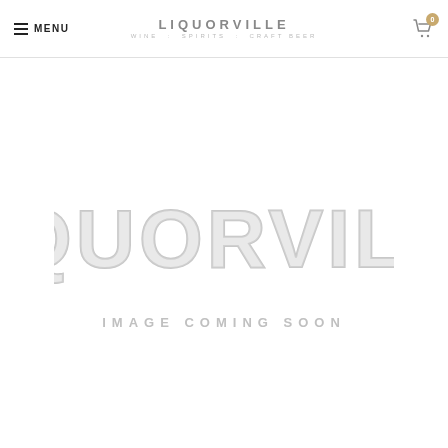MENU | LIQUORVILLE WINE . SPIRITS . CRAFT BEER | 0
[Figure (logo): Liquorville logo placeholder image with dotted/bulb-style large grey letters spelling LIQUORVILLE and text IMAGE COMING SOON below]